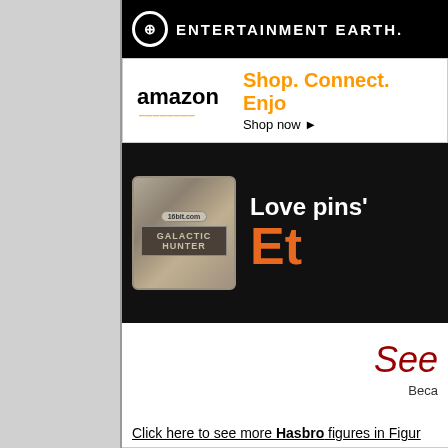[Figure (logo): Entertainment Earth logo on black bar with circular E logo and text ENTERTAINMENT EARTH]
[Figure (logo): Amazon logo with Shop. Connect. Enjoy tagline in orange and Shop now link]
[Figure (infographic): 16bit.com Galactic Hunter pin badge advertisement on black background with Love pins and Et text]
See
Beca
Click here to see more Hasbro figures in Figur
Click here to see more Transformers figures i